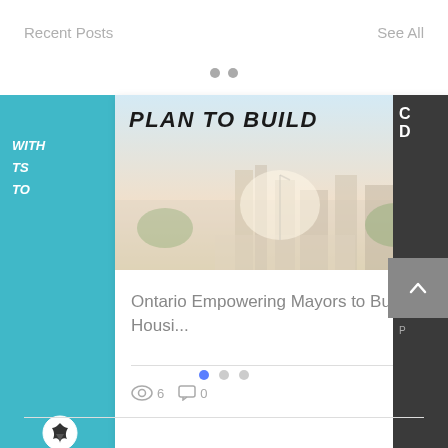Recent Posts
See All
[Figure (screenshot): Blog post card showing Ontario Empowering Mayors to Build Housing article with city skyline image, view count 6, comment count 0, and heart/like icon]
Ontario Empowering Mayors to Build Housi...
6
0